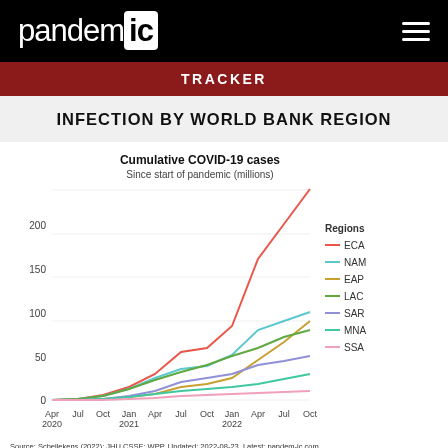pandemic ic
TRACKER
INFECTION BY WORLD BANK REGION
[Figure (line-chart): Cumulative COVID-19 cases]
Source: Schellekens (2022); JHU CSSE; WPP. Updated: 2022-08-23. Latest: pandem-ic.com. Note: Acronyms: EAP: East Asia & Pacific; ECA: Europe & Central Asia; LAC: Latin America & Caribbean; MNA: Middle East & North Africa; NAM: North America; SAR: South Asia; SSA: Sub-Saharan Africa.